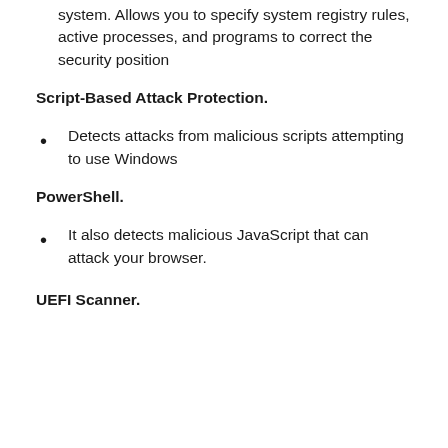system. Allows you to specify system registry rules, active processes, and programs to correct the security position
Script-Based Attack Protection.
Detects attacks from malicious scripts attempting to use Windows
PowerShell.
It also detects malicious JavaScript that can attack your browser.
UEFI Scanner.